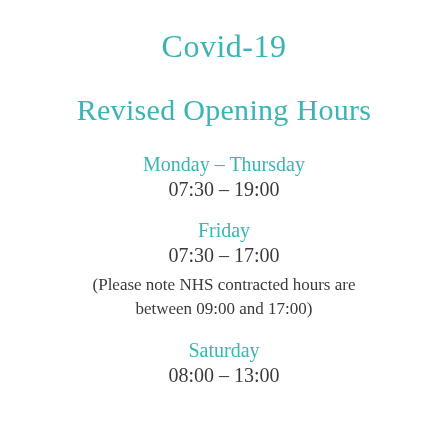Covid-19
Revised Opening Hours
Monday – Thursday
07:30 – 19:00
Friday
07:30 – 17:00
(Please note NHS contracted hours are between 09:00 and 17:00)
Saturday
08:00 – 13:00